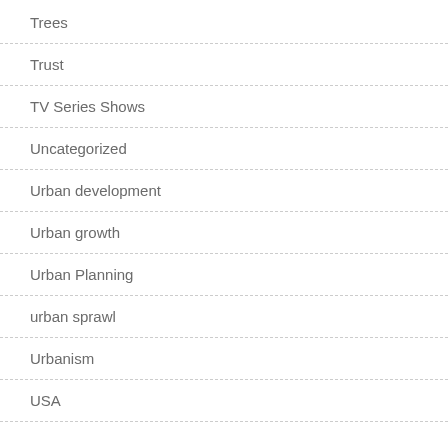Trees
Trust
TV Series Shows
Uncategorized
Urban development
Urban growth
Urban Planning
urban sprawl
Urbanism
USA